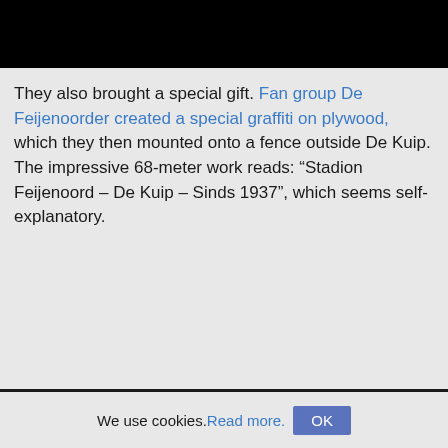[Figure (photo): Black bar at top of page, representing a cropped image or header image area]
They also brought a special gift. Fan group De Feijenoorder created a special graffiti on plywood, which they then mounted onto a fence outside De Kuip. The impressive 68-meter work reads: “Stadion Feijenoord – De Kuip – Sinds 1937”, which seems self-explanatory.
We use cookies. Read more. OK